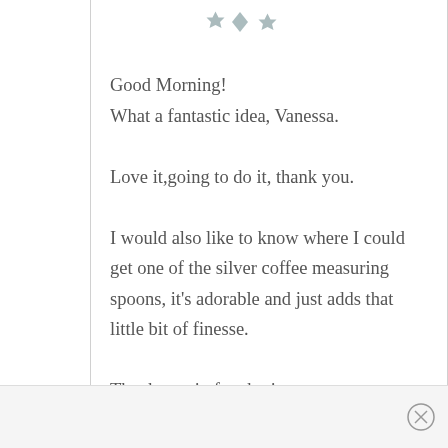[Figure (illustration): Decorative star/diamond icon in gray at top of comment section]
Good Morning!
What a fantastic idea, Vanessa.
Love it,going to do it, thank you.
I would also like to know where I could get one of the silver coffee measuring spoons, it's adorable and just adds that little bit of finesse.
Thanks again for sharing your inspirations...
Reply